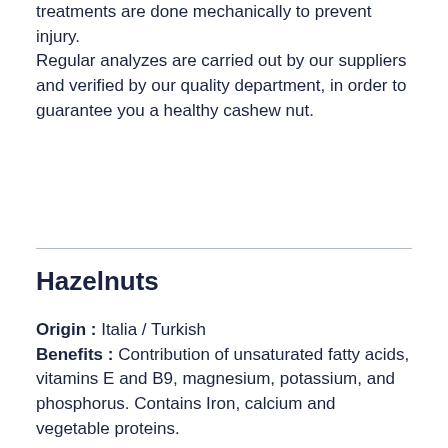treatments are done mechanically to prevent injury. Regular analyzes are carried out by our suppliers and verified by our quality department, in order to guarantee you a healthy cashew nut.
Hazelnuts
Origin : Italia / Turkish Benefits : Contribution of unsaturated fatty acids, vitamins E and B9, magnesium, potassium, and phosphorus. Contains Iron, calcium and vegetable proteins.